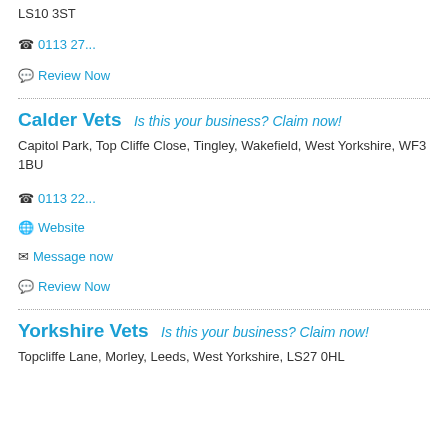LS10 3ST
📞 0113 27...
💬 Review Now
Calder Vets   Is this your business? Claim now!
Capitol Park, Top Cliffe Close, Tingley, Wakefield, West Yorkshire, WF3 1BU
📞 0113 22...
🌐 Website
✉ Message now
💬 Review Now
Yorkshire Vets   Is this your business? Claim now!
Topcliffe Lane, Morley, Leeds, West Yorkshire, LS27 0HL